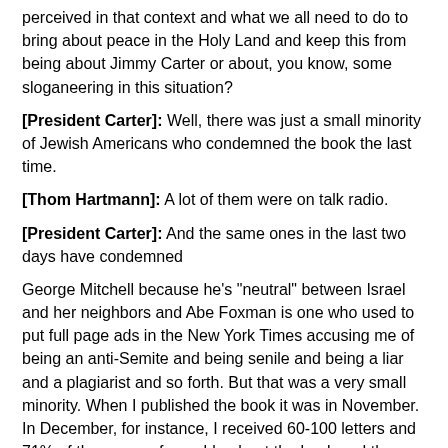perceived in that context and what we all need to do to bring about peace in the Holy Land and keep this from being about Jimmy Carter or about, you know, some sloganeering in this situation?
[President Carter]: Well, there was just a small minority of Jewish Americans who condemned the book the last time.
[Thom Hartmann]: A lot of them were on talk radio.
[President Carter]: And the same ones in the last two days have condemned
George Mitchell because he's "neutral" between Israel and her neighbors and Abe Foxman is one who used to put full page ads in the New York Times accusing me of being an anti-Semite and being senile and being a liar and a plagiarist and so forth. But that was a very small minority. When I published the book it was in November. In December, for instance, I received 60-100 letters and 71% of those were favorable about the book and the majority of those who identified themselves as Jewish Americans said it's time somebody wrote a book like this because they need both sides to the issue.
So, I can't control what the organizations put in newspapers and